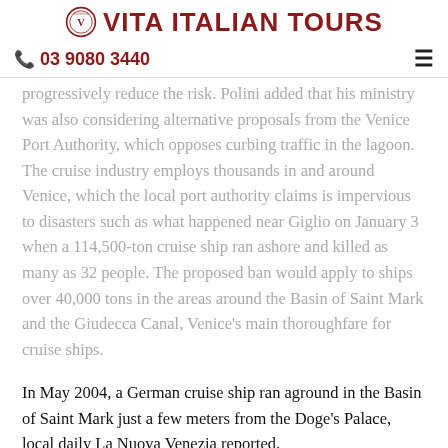VITA ITALIAN TOURS
03 9080 3440
progressively reduce the risk. Polini added that his ministry was also considering alternative proposals from the Venice Port Authority, which opposes curbing traffic in the lagoon. The cruise industry employs thousands in and around Venice, which the local port authority claims is impervious to disasters such as what happened near Giglio on January 3 when a 114,500-ton cruise ship ran ashore and killed as many as 32 people. The proposed ban would apply to ships over 40,000 tons in the areas around the Basin of Saint Mark and the Giudecca Canal, Venice's main thoroughfare for cruise ships.
In May 2004, a German cruise ship ran aground in the Basin of Saint Mark just a few meters from the Doge's Palace, local daily La Nuova Venezia reported.